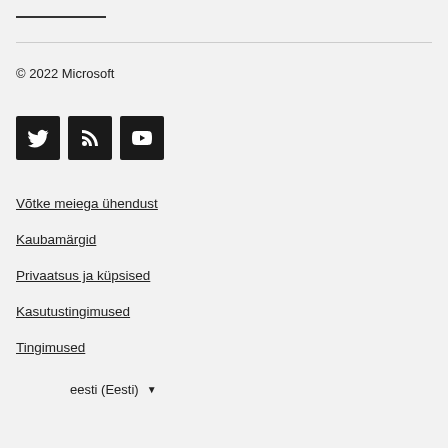© 2022 Microsoft
[Figure (illustration): Social media icons: Twitter, RSS feed, YouTube]
Võtke meiega ühendust
Kaubamärgid
Privaatsus ja küpsised
Kasutustingimused
Tingimused
eesti (Eesti) ▼